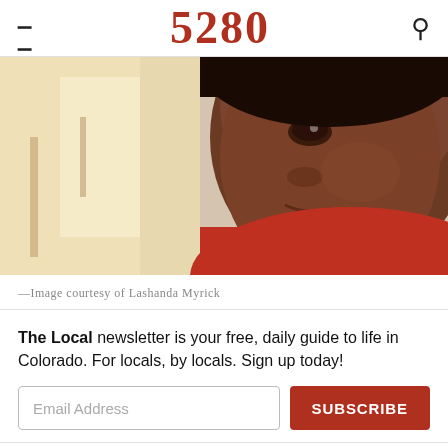5280
[Figure (photo): Close-up selfie photo of a child wearing a red top, face close to camera, background with warm light]
—Image courtesy of Lashanda Myrick
The Local newsletter is your free, daily guide to life in Colorado. For locals, by locals. Sign up today!